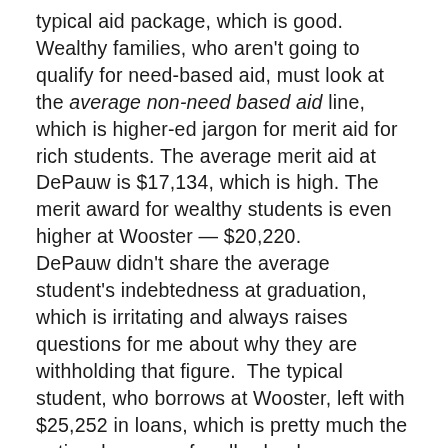typical aid package, which is good. Wealthy families, who aren't going to qualify for need-based aid, must look at the average non-need based aid line, which is higher-ed jargon for merit aid for rich students. The average merit aid at DePauw is $17,134, which is high. The merit award for wealthy students is even higher at Wooster — $20,220. DePauw didn't share the average student's indebtedness at graduation, which is irritating and always raises questions for me about why they are withholding that figure.  The typical student, who borrows at Wooster, left with $25,252 in loans, which is pretty much the national average for all schools.